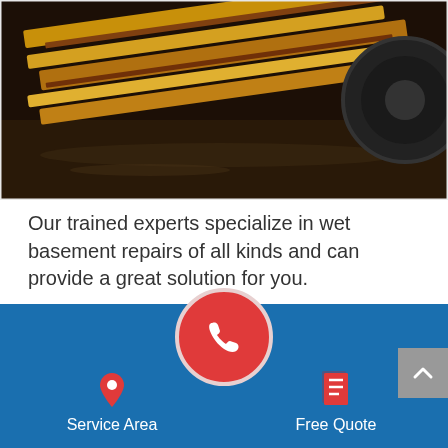[Figure (photo): Flooded basement with wooden lumber boards floating in brown water, tire visible on right side]
Our trained experts specialize in wet basement repairs of all kinds and can provide a great solution for you.
Call us today at 1-540-924-1518 or click below to learn more about how we can help you solve your basement flooding problems. We offer free estimates on all our... Sterling, Arlington
[Figure (infographic): Blue bottom navigation bar with Service Area (map pin icon), central red phone call button, and Free Quote (document icon)]